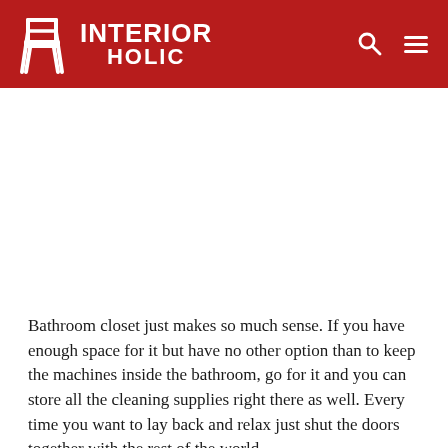INTERIOR HOLIC
[Figure (photo): White blank image area placeholder below the header navigation]
Bathroom closet just makes so much sense. If you have enough space for it but have no other option than to keep the machines inside the bathroom, go for it and you can store all the cleaning supplies right there as well. Every time you want to lay back and relax just shut the doors together with the rest of the world.